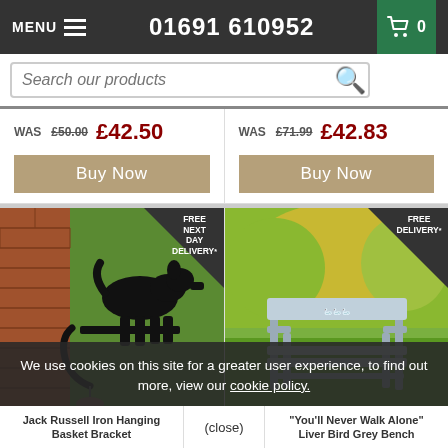MENU  01691 610952  0
Search our products
WAS £50.00  £42.50  Buy Now
WAS £71.99  £42.83  Buy Now
[Figure (photo): Jack Russell dog silhouette iron hanging basket bracket mounted on brick wall, with FREE NEXT DAY DELIVERY* badge]
[Figure (photo): Grey garden bench with bird design reading 'You'll Never Walk Alone' Liver Bird, outdoor grass setting, with FREE DELIVERY* badge]
We use cookies on this site for a greater user experience, to find out more, view our cookie policy.
(close)
Jack Russell Iron Hanging Basket Bracket
"You'll Never Walk Alone" Liver Bird Grey Bench